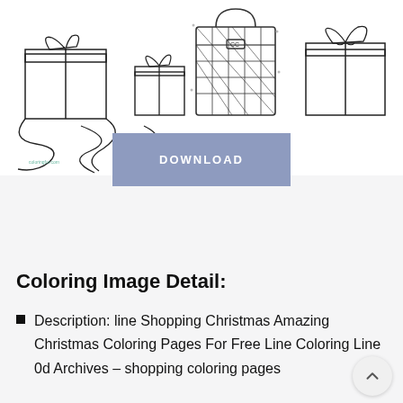[Figure (illustration): Line drawing illustration of Christmas gifts, boxes with ribbons and bows, and a patterned handbag/purse among the presents. Black and white coloring page style sketch.]
DOWNLOAD
Coloring Image Detail:
Description: line Shopping Christmas Amazing Christmas Coloring Pages For Free Line Coloring Line 0d Archives – shopping coloring pages